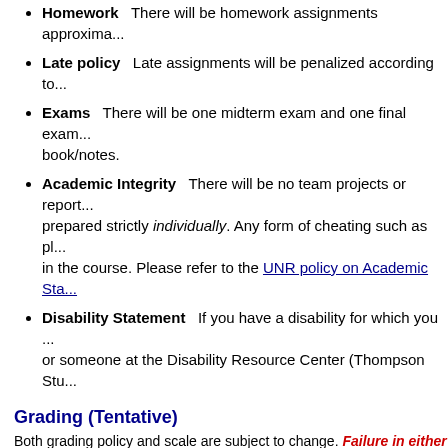Homework   There will be homework assignments approxima...
Late policy   Late assignments will be penalized according to...
Exams   There will be one midterm exam and one final exam... book/notes.
Academic Integrity   There will be no team projects or report... prepared strictly individually. Any form of cheating such as pl... in the course. Please refer to the UNR policy on Academic Sta...
Disability Statement   If you have a disability for which you ... or someone at the Disability Resource Center (Thompson Stu...
Grading (Tentative)
Both grading policy and scale are subject to change. Failure in either homework + midterm exam + final exam) will result in failure in the co...
Grading Policy
|  |  |
| --- | --- |
| Lab Assignments | 30% |
| between 1 and 2 days late |  |
Late Assignment Policy
| less than 1 day late |
| between 1 and 2 days late |